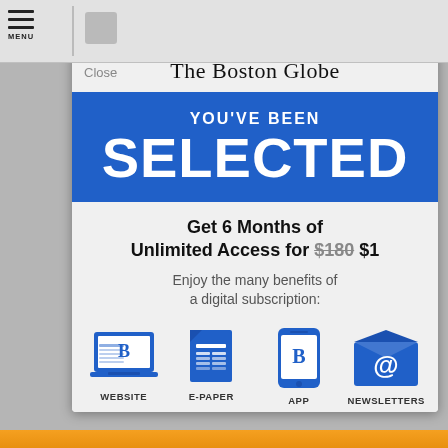The Boston Globe
YOU'VE BEEN SELECTED
Get 6 Months of Unlimited Access for $180 $1
Enjoy the many benefits of a digital subscription:
[Figure (infographic): Four blue icons representing subscription benefits: Website (laptop with Boston Globe logo), E-Paper (newspaper), App (smartphone with Boston Globe logo), Newsletters (envelope with @ symbol)]
WEBSITE    E-PAPER    APP    NEWSLETTERS